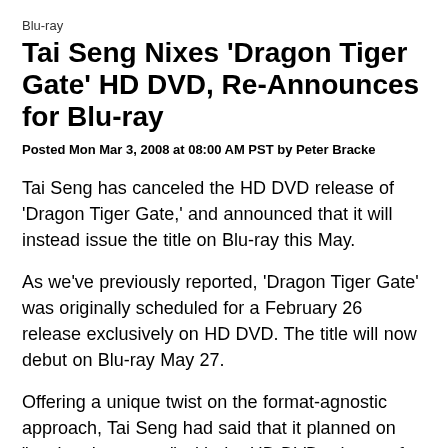Blu-ray
Tai Seng Nixes 'Dragon Tiger Gate' HD DVD, Re-Announces for Blu-ray
Posted Mon Mar 3, 2008 at 08:00 AM PST by Peter Bracke
Tai Seng has canceled the HD DVD release of 'Dragon Tiger Gate,' and announced that it will instead issue the title on Blu-ray this May.
As we've previously reported, 'Dragon Tiger Gate' was originally scheduled for a February 26 release exclusively on HD DVD. The title will now debut on Blu-ray May 27.
Offering a unique twist on the format-agnostic approach, Tai Seng had said that it planned on "testing the waters" with the HD DVD release of 'Gate,' which had been scheduled to hit shelves on a more obscure...